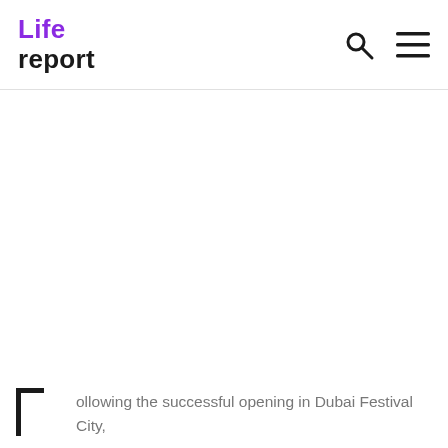Life report
[Figure (photo): White/blank content area below the header navigation bar]
ollowing the successful opening in Dubai Festival City,